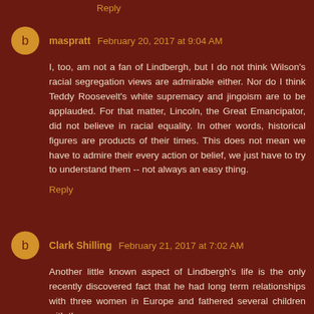Reply
maspratt  February 20, 2017 at 9:04 AM
I, too, am not a fan of Lindbergh, but I do not think Wilson's racial segregation views are admirable either. Nor do I think Teddy Roosevelt's white supremacy and jingoism are to be applauded. For that matter, Lincoln, the Great Emancipator, did not believe in racial equality. In other words, historical figures are products of their times. This does not mean we have to admire their every action or belief, we just have to try to understand them -- not always an easy thing.
Reply
Clark Shilling  February 21, 2017 at 7:02 AM
Another little known aspect of Lindbergh's life is the only recently discovered fact that he had long term relationships with three women in Europe and fathered several children with them.